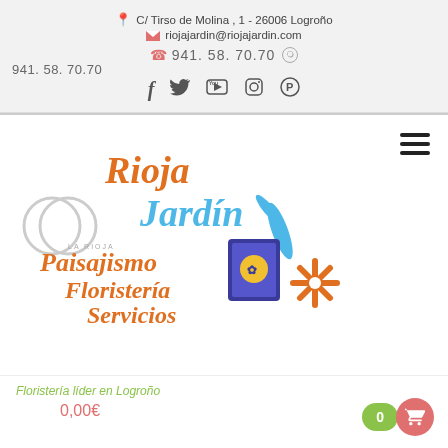C/ Tirso de Molina , 1 - 26006 Logroño | riojajardin@riojajardin.com | 941. 58. 70.70 | 941. 58. 70.70
[Figure (logo): Social media icons: Facebook (f), Twitter bird, YouTube, Instagram camera, Pinterest (P)]
[Figure (logo): Rioja Jardín logo with text: Paisajismo, Floristería, Servicios, with decorative garden/flower graphics]
Floristería líder en Logroño
0,00€